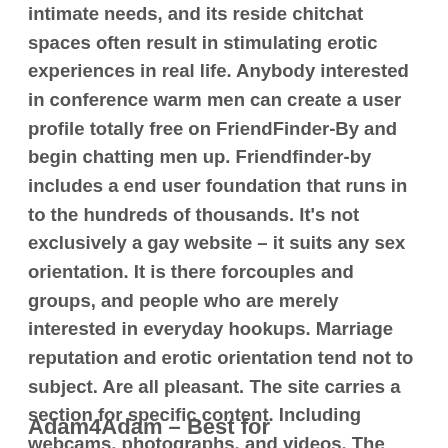intimate needs, and its reside chitchat spaces often result in stimulating erotic experiences in real life. Anybody interested in conference warm men can create a user profile totally free on FriendFinder-By and begin chatting men up. Friendfinder-by includes a end user foundation that runs in to the hundreds of thousands. It's not exclusively a gay website – it suits any sex orientation. It is there forcouples and groups, and people who are merely interested in everyday hookups. Marriage reputation and erotic orientation tend not to subject. Are all pleasant. The site carries a section for specific content. Including webcams, photographs, and videos. The web page even offers its unique choice of reside cam types, attractive chatting, and numerous types of adult video clips.
Adam4Adam – Best for